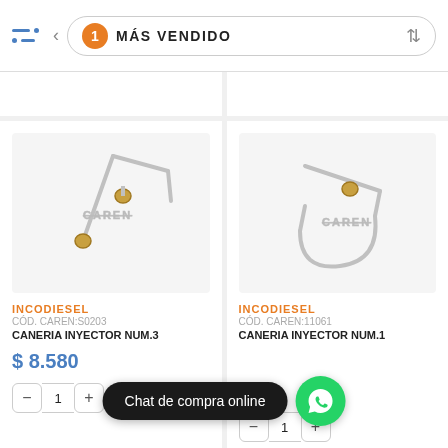1 MÁS VENDIDO
[Figure (photo): Product photo of CANERIA INYECTOR NUM.3 - a metal fuel injector pipe with brass fittings, on light gray background. Watermark: CAREN]
INCODIESEL
CÓD. CAREN:S0203
CANERIA INYECTOR NUM.3
$ 8.580
[Figure (photo): Product photo of CANERIA INYECTOR NUM.1 - a metal fuel injector pipe with brass fittings and U-shape, on light gray background. Watermark: CAREN]
INCODIESEL
CÓD. CAREN:11061
CANERIA INYECTOR NUM.1
Chat de compra online